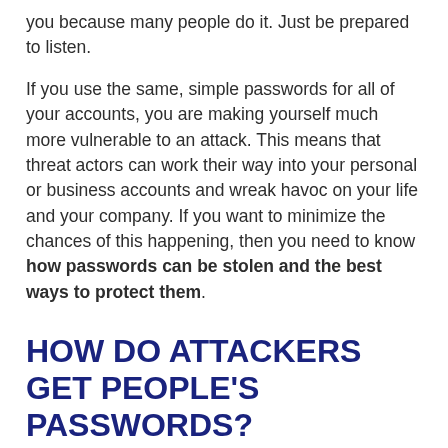you because many people do it. Just be prepared to listen.
If you use the same, simple passwords for all of your accounts, you are making yourself much more vulnerable to an attack. This means that threat actors can work their way into your personal or business accounts and wreak havoc on your life and your company. If you want to minimize the chances of this happening, then you need to know how passwords can be stolen and the best ways to protect them.
HOW DO ATTACKERS GET PEOPLE'S PASSWORDS?
To understand the best ways to protect...